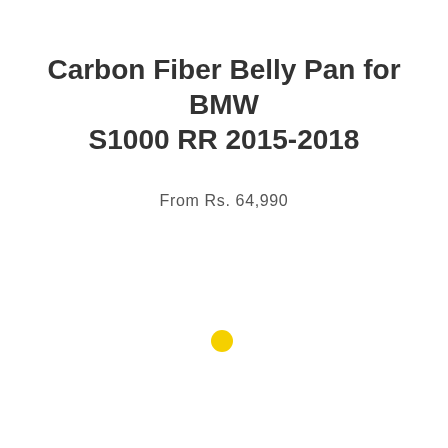Carbon Fiber Belly Pan for BMW S1000 RR 2015-2018
From Rs. 64,990
[Figure (other): Small yellow filled circle dot, centered slightly left of page center, used as a UI color swatch indicator.]